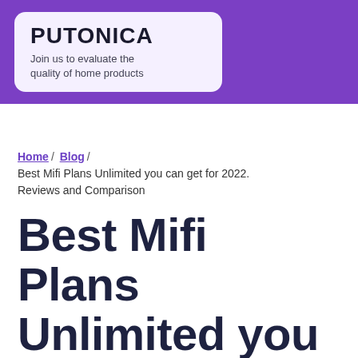PUTONICA
Join us to evaluate the quality of home products
Home / Blog / Best Mifi Plans Unlimited you can get for 2022. Reviews and Comparison
Best Mifi Plans Unlimited you can get for